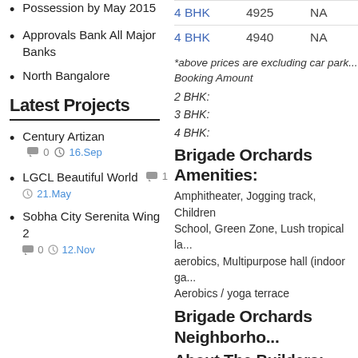Possession by May 2015
Approvals Bank All Major Banks
North Bangalore
| 4 BHK | 4925 | NA |
| 4 BHK | 4940 | NA |
Latest Projects
Century Artizan  0  16.Sep
LGCL Beautiful World  1  21.May
Sobha City Serenita Wing 2  0  12.Nov
*above prices are excluding car park... Booking Amount
2 BHK:
3 BHK:
4 BHK:
Brigade Orchards Amenities:
Amphitheater, Jogging track, Children School, Green Zone, Lush tropical la... aerobics, Multipurpose hall (indoor ga... Aerobics / yoga terrace
Brigade Orchards Neighborho...
About The Builders:
Brigade Group commenced operation... synonymous with Innovation, Quality,... Group has a network of offices acros...